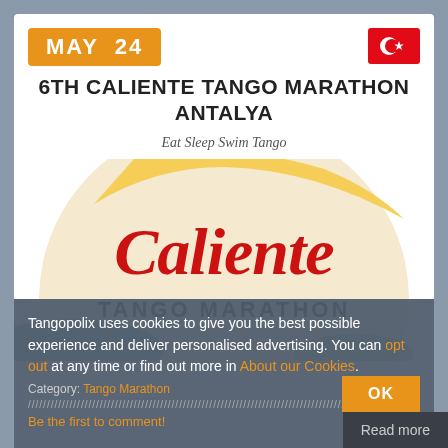MAY 24
[Figure (illustration): Turkish flag icon - red background with white crescent moon and star]
6TH CALIENTE TANGO MARATHON ANTALYA
Eat Sleep Swim Tango
[Figure (logo): Caliente Tango Marathon logo - circular design with cream background, red Caliente script text, black TANGO MARATHON text, yellow and teal color accents]
Tangopolix uses cookies to give you the best possible experience and deliver personalised advertising. You can opt out at any time or find out more in About our Cookies.
Category: Tango Marathon
Be the first to comment!